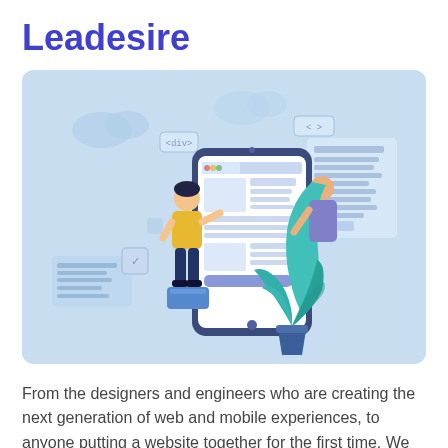Leadesire
[Figure (illustration): Flat vector illustration on a light blue background showing a person in a yellow top and dark pants standing on a blue box, pointing at a large smartphone screen displaying a UI layout. Behind the phone, a figure with teal flowing hair/clothing interacts with the screen. A potted teal plant sits to the right. Floating UI elements and icons (code tags, cloud, checkboxes) surround the scene.]
From the designers and engineers who are creating the next generation of web and mobile experiences, to anyone putting a website together for the first time. We